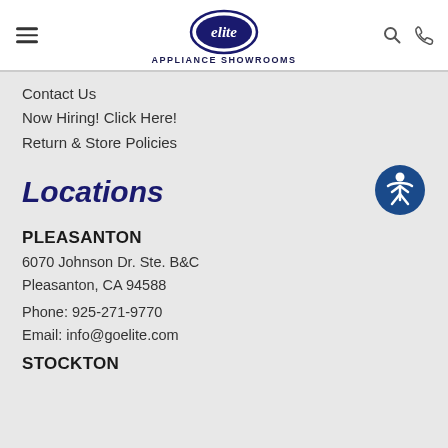elite APPLIANCE SHOWROOMS
Contact Us
Now Hiring! Click Here!
Return & Store Policies
Locations
PLEASANTON
6070 Johnson Dr. Ste. B&C
Pleasanton, CA 94588
Phone: 925-271-9770
Email: info@goelite.com
STOCKTON